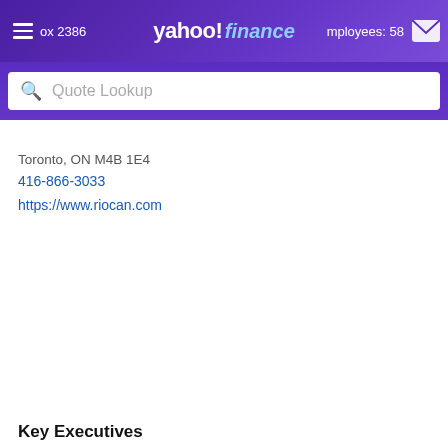Box 2386  yahoo! finance  Employees: 58
Toronto, ON M4B 1E4
416-866-3033
https://www.riocan.com
Key Executives